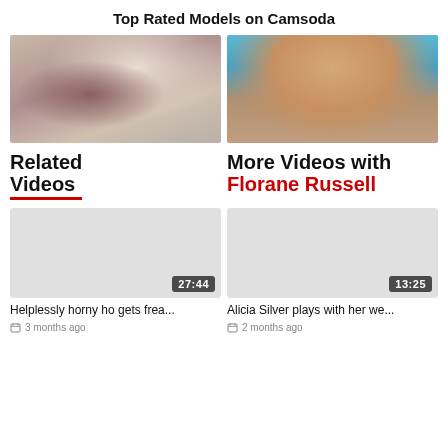Top Rated Models on Camsoda
[Figure (photo): Thumbnail of a woman with dark hair raising her hand, mouth open, in a bedroom setting]
[Figure (photo): Thumbnail of a woman's body against a blue geometric background]
Related Videos
More Videos with Florane Russell
[Figure (photo): Video thumbnail placeholder gray box with duration badge 27:44]
[Figure (photo): Video thumbnail placeholder gray box with duration badge 13:25]
Helplessly horny ho gets frea...
3 months ago
Alicia Silver plays with her we...
2 months ago